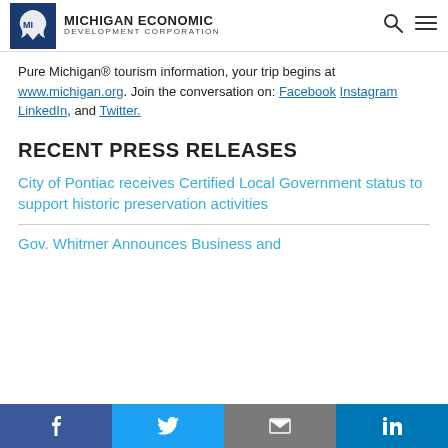Michigan Economic Development Corporation
Pure Michigan® tourism information, your trip begins at www.michigan.org. Join the conversation on: Facebook Instagram LinkedIn, and Twitter.
RECENT PRESS RELEASES
City of Pontiac receives Certified Local Government status to support historic preservation activities
Gov. Whitmer Announces Business and
Facebook Twitter Email LinkedIn